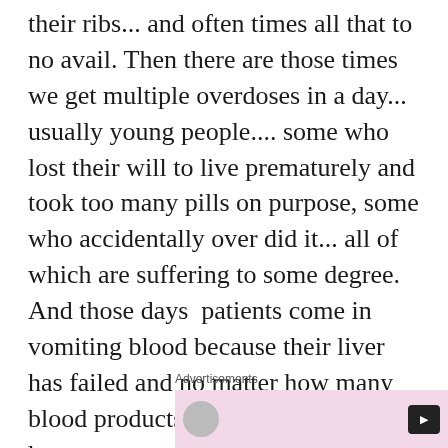their ribs... and often times all that to no avail. Then there are those times we get multiple overdoses in a day... usually young people.... some who lost their will to live prematurely and took too many pills on purpose, some who accidentally over did it... all of which are suffering to some degree. And those days  patients come in vomiting blood because their liver has failed and no matter how many blood products I dump into them or how many procedures they undergo, we can't stop their bleeding.
Advertisements
[Figure (other): Advertisement banner with pink background, circular icon on left and dark button on right]